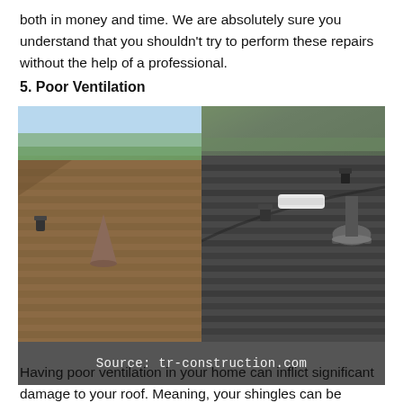both in money and time. We are absolutely sure you understand that you shouldn't try to perform these repairs without the help of a professional.
5. Poor Ventilation
[Figure (photo): Two side-by-side photos of rooftops showing roof ventilation elements. Left photo shows a brown shingle roof with a cone-shaped vent and a smaller dark vent, with trees and sky visible in the background. Right photo shows a dark gray shingle roof with a turbine vent, a white elongated vent, and another smaller vent, with trees in the background. A dark gray caption bar at the bottom reads: Source: tr-construction.com]
Source: tr-construction.com
Having poor ventilation in your home can inflict significant damage to your roof. Meaning, your shingles can be heavily